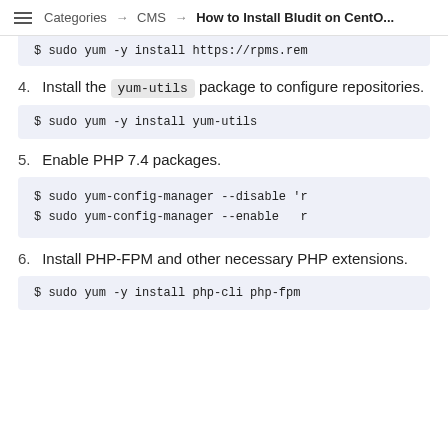Categories → CMS → How to Install Bludit on CentO...
$ sudo yum -y install https://rpms.rem
4. Install the yum-utils package to configure repositories.
$ sudo yum -y install yum-utils
5. Enable PHP 7.4 packages.
$ sudo yum-config-manager --disable 'r
$ sudo yum-config-manager --enable  r
6. Install PHP-FPM and other necessary PHP extensions.
$ sudo yum -y install php-cli php-fpm